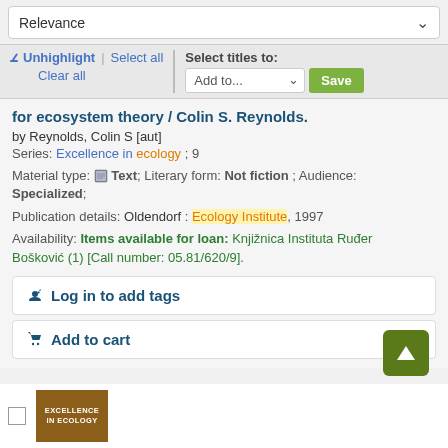Relevance
✏ Unhighlight | Select all | Clear all | Select titles to: Add to... Save
for ecosystem theory / Colin S. Reynolds.
by Reynolds, Colin S [aut]
Series: Excellence in ecology ; 9
Material type: Text; Literary form: Not fiction ; Audience: Specialized;
Publication details: Oldendorf : Ecology Institute, 1997
Availability: Items available for loan: Knjižnica Instituta Ruđer Bošković (1) [Call number: 05.81/620/9].
🏷 Log in to add tags
🛒 Add to cart
[Figure (illustration): Book cover thumbnail for Excellence in Ecology series]